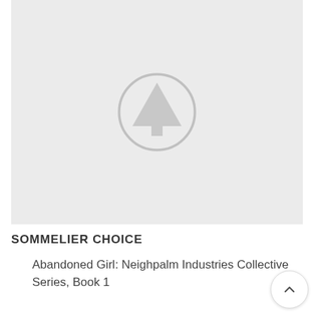[Figure (logo): Light gray placeholder image with a tree/pine icon inside a circle in the center]
SOMMELIER CHOICE
Abandoned Girl: Neighpalm Industries Collective Series, Book 1